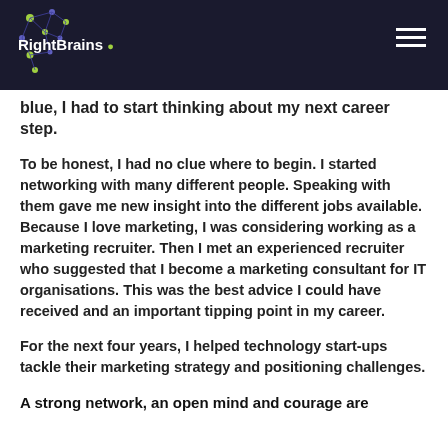RightBrains
blue, I had to start thinking about my next career step.
To be honest, I had no clue where to begin. I started networking with many different people. Speaking with them gave me new insight into the different jobs available. Because I love marketing, I was considering working as a marketing recruiter. Then I met an experienced recruiter who suggested that I become a marketing consultant for IT organisations. This was the best advice I could have received and an important tipping point in my career.
For the next four years, I helped technology start-ups tackle their marketing strategy and positioning challenges.
A strong network, an open mind and courage are